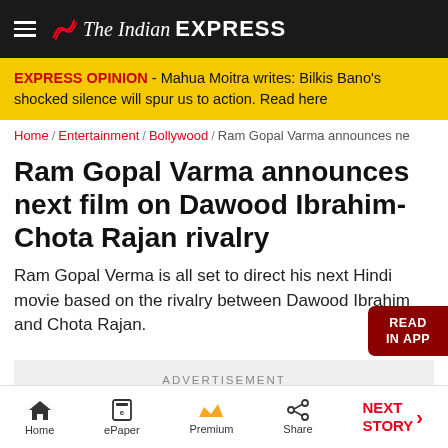The Indian Express
EXPRESS OPINION - Mahua Moitra writes: Bilkis Bano's shocked silence will spur us to action. Read here
Home / Entertainment / Bollywood / Ram Gopal Varma announces ne
Ram Gopal Varma announces next film on Dawood Ibrahim-Chota Rajan rivalry
Ram Gopal Verma is all set to direct his next Hindi movie based on the rivalry between Dawood Ibrahim and Chota Rajan.
ADVERTISEMENT
Home  ePaper  Premium  Share  NEXT STORY